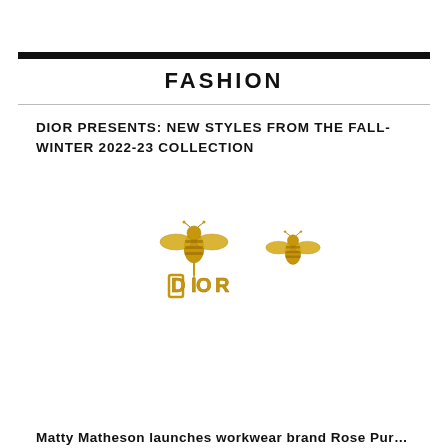FASHION
DIOR PRESENTS: NEW STYLES FROM THE FALL-WINTER 2022-23 COLLECTION
[Figure (photo): Gold Dior bee earrings from the Fall-Winter 2022-23 collection. One earring shows a bee with 'DIOR' letters hanging below, the other shows just the bee stud.]
Matty Matheson launches workwear brand Rose Purpos...